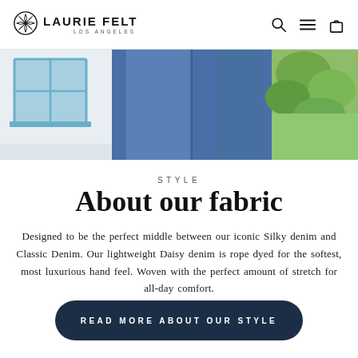LAURIE FELT LOS ANGELES
[Figure (photo): Banner photo showing close-up of person wearing blue denim jeans, with a white house with blue-framed window on the left and greenery on the right]
STYLE
About our fabric
Designed to be the perfect middle between our iconic Silky denim and Classic Denim. Our lightweight Daisy denim is rope dyed for the softest, most luxurious hand feel. Woven with the perfect amount of stretch for all-day comfort.
READ MORE ABOUT OUR STYLE